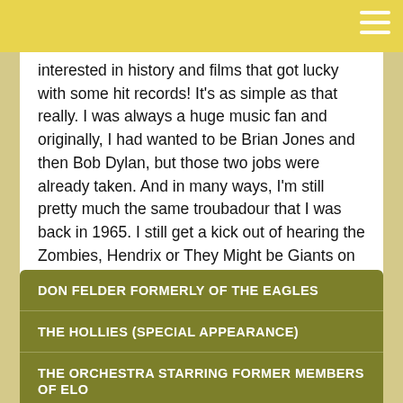interested in history and films that got lucky with some hit records! It's as simple as that really. I was always a huge music fan and originally, I had wanted to be Brian Jones and then Bob Dylan, but those two jobs were already taken. And in many ways, I'm still pretty much the same troubadour that I was back in 1965. I still get a kick out of hearing the Zombies, Hendrix or They Might be Giants on the radio."
DON FELDER FORMERLY OF THE EAGLES
THE HOLLIES (SPECIAL APPEARANCE)
THE ORCHESTRA STARRING FORMER MEMBERS OF ELO
JOHN LODGE OF THE MOODY BLUES